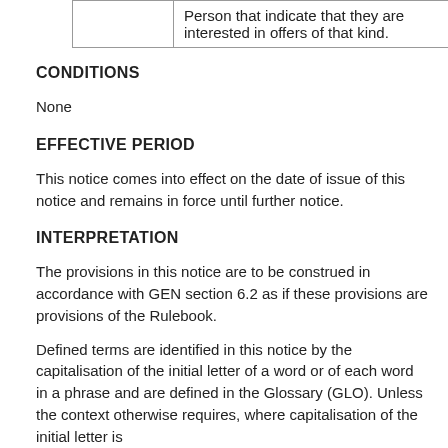|  | Person that indicate that they are interested in offers of that kind. |
CONDITIONS
None
EFFECTIVE PERIOD
This notice comes into effect on the date of issue of this notice and remains in force until further notice.
INTERPRETATION
The provisions in this notice are to be construed in accordance with GEN section 6.2 as if these provisions are provisions of the Rulebook.
Defined terms are identified in this notice by the capitalisation of the initial letter of a word or of each word in a phrase and are defined in the Glossary (GLO). Unless the context otherwise requires, where capitalisation of the initial letter is